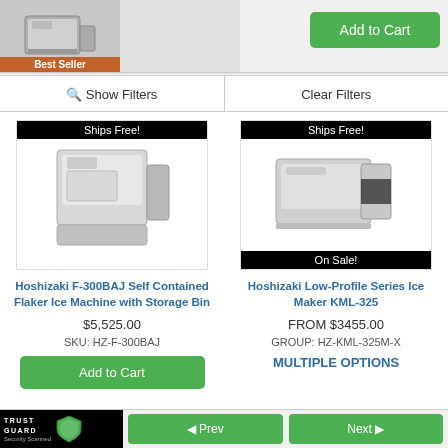[Figure (photo): Product thumbnail of ice machine with Best Seller badge]
Best Seller
Add to Cart
🔍 Show Filters
Clear Filters
[Figure (photo): Hoshizaki F-300BAJ ice machine with Ships Free badge]
Ships Free!
Hoshizaki F-300BAJ Self Contained Flaker Ice Machine with Storage Bin
$5,525.00
SKU: HZ-F-300BAJ
Add to Cart
[Figure (photo): Hoshizaki Low-Profile Series Ice Maker with Ships Free and On Sale badges]
Ships Free!
On Sale!
Hoshizaki Low-Profile Series Ice Maker KML-325
FROM $3455.00
GROUP: HZ-KML-325M-X
MULTIPLE OPTIONS
[Figure (logo): Trust Guard Security Scanned logo]